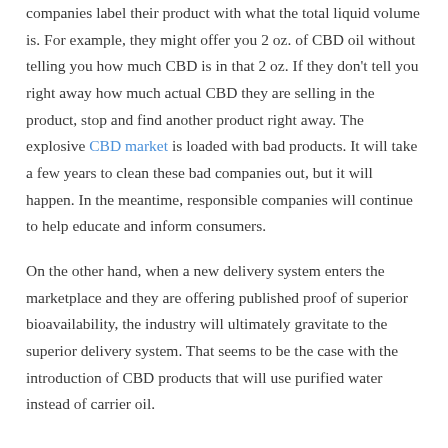companies label their product with what the total liquid volume is. For example, they might offer you 2 oz. of CBD oil without telling you how much CBD is in that 2 oz. If they don't tell you right away how much actual CBD they are selling in the product, stop and find another product right away. The explosive CBD market is loaded with bad products. It will take a few years to clean these bad companies out, but it will happen. In the meantime, responsible companies will continue to help educate and inform consumers.
On the other hand, when a new delivery system enters the marketplace and they are offering published proof of superior bioavailability, the industry will ultimately gravitate to the superior delivery system. That seems to be the case with the introduction of CBD products that will use purified water instead of carrier oil.